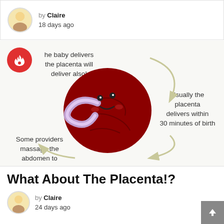by Claire
18 days ago
[Figure (infographic): Placenta infographic showing a plush placenta toy with arrows and text: After the baby delivers the placenta will deliver also; Usually the placenta delivers within 30 minutes of birth; Some providers massage the abdomen to...]
What About The Placenta!?
by Claire
24 days ago